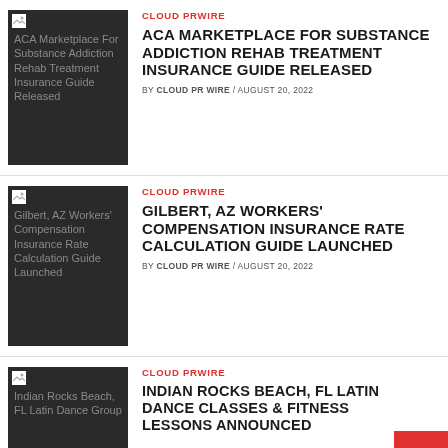[Figure (photo): Dark thumbnail image with alt text: ACA Marketplace For Substance Addiction Rehab Treatment Insurance Guide Released]
CLOUD PRWIRE
ACA MARKETPLACE FOR SUBSTANCE ADDICTION REHAB TREATMENT INSURANCE GUIDE RELEASED
BY CLOUD PR WIRE / AUGUST 20, 2022
[Figure (photo): Dark thumbnail image with alt text: Gilbert, AZ Workers' Compensation Insurance Rate Calculation Guide Launched]
CLOUD PRWIRE
GILBERT, AZ WORKERS' COMPENSATION INSURANCE RATE CALCULATION GUIDE LAUNCHED
BY CLOUD PR WIRE / AUGUST 20, 2022
[Figure (photo): Dark thumbnail image with alt text: Indian Rocks Beach, FL Latin Dance Group]
CLOUD PRWIRE
INDIAN ROCKS BEACH, FL LATIN DANCE CLASSES & FITNESS LESSONS ANNOUNCED